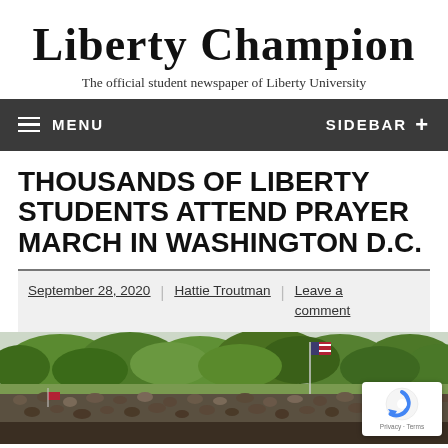Liberty Champion
The official student newspaper of Liberty University
MENU | SIDEBAR +
THOUSANDS OF LIBERTY STUDENTS ATTEND PRAYER MARCH IN WASHINGTON D.C.
September 28, 2020 | Hattie Troutman | Leave a comment
[Figure (photo): Aerial/crowd photo of thousands of people gathered outdoors with trees and an American flag visible in the background, taken at the Prayer March in Washington D.C.]